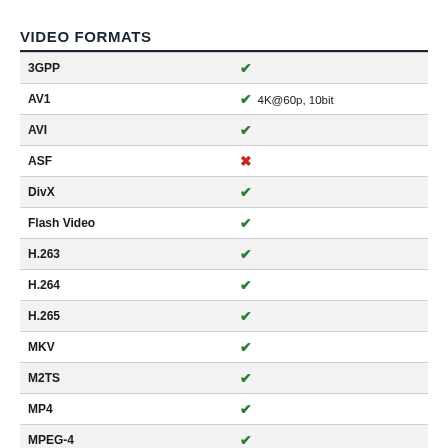VIDEO FORMATS
| Format | Support |
| --- | --- |
| 3GPP | ✓ |
| AV1 | ✓ 4K@60p, 10bit |
| AVI | ✓ |
| ASF | ✗ |
| DivX | ✓ |
| Flash Video | ✓ |
| H.263 | ✓ |
| H.264 | ✓ |
| H.265 | ✓ |
| MKV | ✓ |
| M2TS | ✓ |
| MP4 | ✓ |
| MPEG-4 | ✓ |
| QuickTime | ✓ |